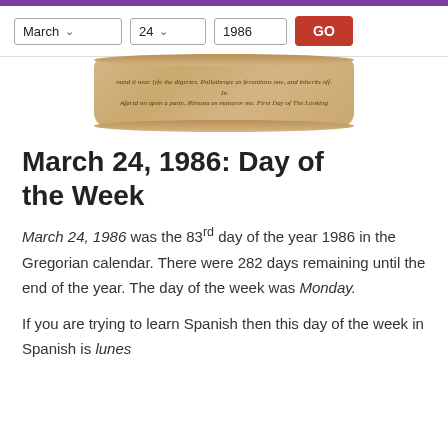March | 24 | 1986 | GO
[Figure (illustration): A decorative scroll/parchment image with cursive italic text]
March 24, 1986: Day of the Week
March 24, 1986 was the 83rd day of the year 1986 in the Gregorian calendar. There were 282 days remaining until the end of the year. The day of the week was Monday.
If you are trying to learn Spanish then this day of the week in Spanish is lunes